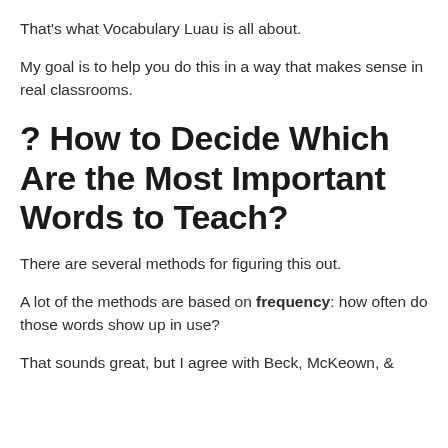That's what Vocabulary Luau is all about.
My goal is to help you do this in a way that makes sense in real classrooms.
? How to Decide Which Are the Most Important Words to Teach?
There are several methods for figuring this out.
A lot of the methods are based on frequency: how often do those words show up in use?
That sounds great, but I agree with Beck, McKeown, &